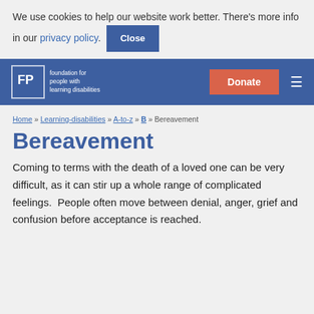We use cookies to help our website work better. There's more info in our privacy policy. Close
foundation for people with learning disabilities | Donate | ☰
Home » Learning-disabilities » A-to-z » B » Bereavement
Bereavement
Coming to terms with the death of a loved one can be very difficult, as it can stir up a whole range of complicated feelings.  People often move between denial, anger, grief and confusion before acceptance is reached.